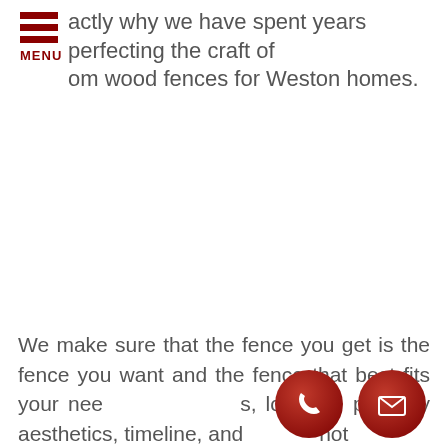actly why we have spent years perfecting the craft of om wood fences for Weston homes.
We make sure that the fence you get is the fence you want and the fence that best fits your needs, location, property aesthetics, timeline, and budget — not